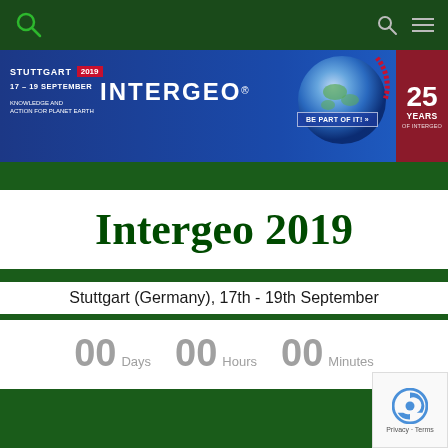[Figure (screenshot): Navigation bar with green background, search icon, and hamburger menu]
[Figure (screenshot): Intergeo 2019 banner: Stuttgart 17-19 September, INTERGEO logo, globe image, 25 Years of Intergeo badge, BE PART OF IT button]
Intergeo 2019
Stuttgart (Germany), 17th - 19th September
00 Days  00 Hours  00 Minutes